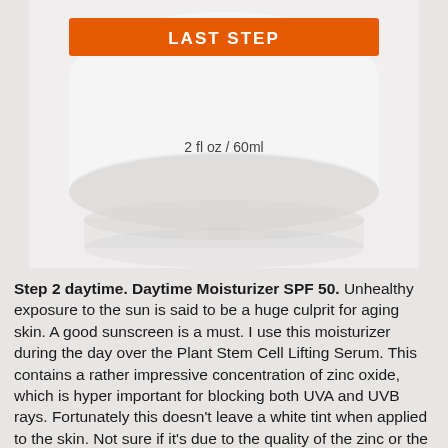[Figure (photo): A white jar of Daytime Moisturizer SPF 50 product with an orange label, showing '2 fl oz / 60ml' text on the bottom of the jar. The jar is photographed from below/side angle against a white background with a slight reflection visible.]
Step 2 daytime. Daytime Moisturizer SPF 50. Unhealthy exposure to the sun is said to be a huge culprit for aging skin.  A good sunscreen is a must.  I use this moisturizer during the day over the Plant Stem Cell Lifting Serum. This contains a rather impressive concentration of zinc oxide, which is hyper important for blocking both UVA and UVB rays. Fortunately this doesn't leave a white tint when applied to the skin. Not sure if it's due to the quality of the zinc or the fact that it's quickly absorbed into the skin. Either way, I'm happy.  This also contains tons of moisturizing ingredients like aloe vera and shea butter, a real plus for preventing sun dried skin.